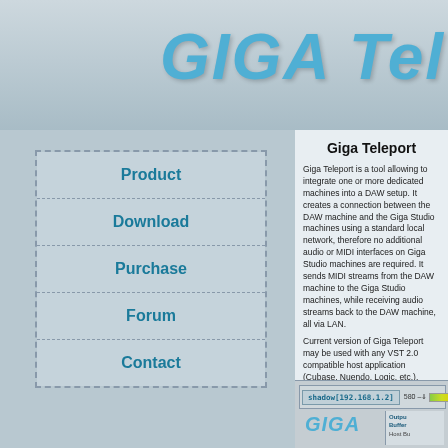GIGA Tel
Product
Download
Purchase
Forum
Contact
Giga Teleport
Giga Teleport is a tool allowing to integrate one or more dedicated machines into a DAW setup. It creates a connection between the DAW machine and the Giga Studio machines using a standard local network, therefore no additional audio or MIDI interfaces on Giga Studio machines are required. It sends MIDI streams from the DAW machine to the Giga Studio machines, while receiving audio streams back to the DAW machine, all via LAN.
Current version of Giga Teleport may be used with any VST 2.0 compatible host application (Cubase, Nuendo, Logic, etc.). Support of AU and VST compatible host applications under Mac OS X is coming soon.
If you want to use dedicated machines not only for Giga Studio, but also for other VST instruments, you'll have to use FX Teleport in combination with Giga Teleport. Giga Teleport can be used for running Giga Studio on the same machine with the DAW host. See the compatibility chart for details.
[Figure (screenshot): Screenshot of Giga Teleport interface showing shadow[192.168.1.2] host name, meter showing 580, and GIGA logo with Output, Buffer, and Host Bu labels]